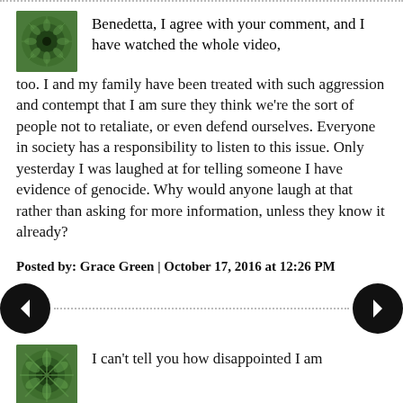Benedetta, I agree with your comment, and I have watched the whole video, too. I and my family have been treated with such aggression and contempt that I am sure they think we're the sort of people not to retaliate, or even defend ourselves. Everyone in society has a responsibility to listen to this issue. Only yesterday I was laughed at for telling someone I have evidence of genocide. Why would anyone laugh at that rather than asking for more information, unless they know it already?
Posted by: Grace Green | October 17, 2016 at 12:26 PM
I can't tell you how disappointed I am